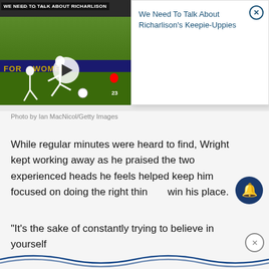[Figure (screenshot): Video thumbnail of a soccer/football match with title overlay 'We Need To Talk About Richarlison', showing a player kicking a ball on a green field, with a white popup card on the right side showing the title 'We Need To Talk About Richarlison's Keepie-Uppies']
Photo by Ian MacNicol/Getty Images
While regular minutes were heard to find, Wright kept working away as he praised the two experienced heads he feels helped keep him focused on doing the right thing to win his place.
“It’s the sake of constantly trying to believe in yourself out of the team and worki…